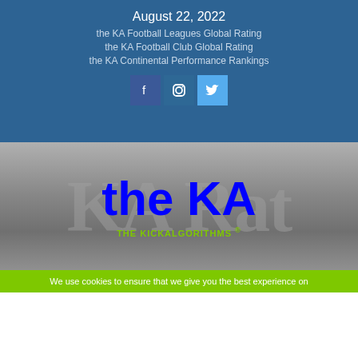August 22, 2022
the KA Football Leagues Global Rating
the KA Football Club Global Rating
the KA Continental Performance Rankings
[Figure (logo): Social media icons: Facebook, Instagram, Twitter]
[Figure (illustration): Hero banner with large blue text 'the KA' and subtitle 'THE KICKALGORITHMS ®' on grey textured background with faded 'KA Rat' watermark text]
We use cookies to ensure that we give you the best experience on